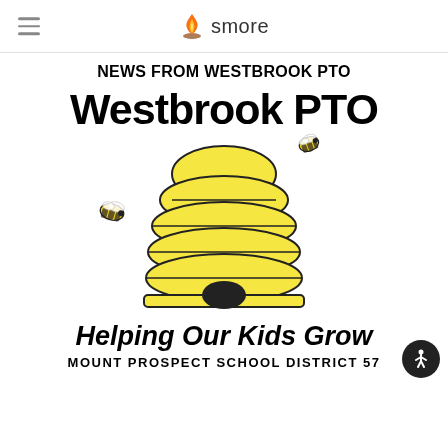smore
NEWS FROM WESTBROOK PTO
[Figure (logo): Westbrook PTO logo: large bold 'Westbrook PTO' text above a cartoon yellow beehive with three cartoon bees flying around it, tagline 'Helping Our Kids Grow', and 'MOUNT PROSPECT SCHOOL DISTRICT 57' below.]
Helping Our Kids Grow
MOUNT PROSPECT SCHOOL DISTRICT 57